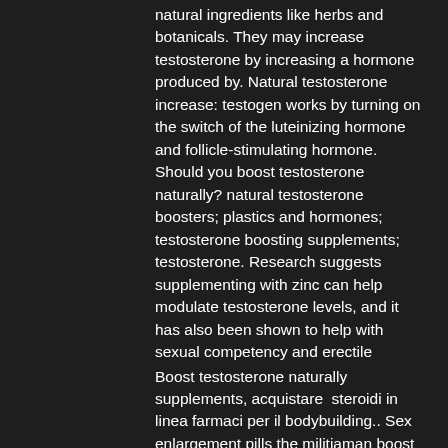natural ingredients like herbs and botanicals. They may increase testosterone by increasing a hormone produced by. Natural testosterone increase: testogen works by turning on the switch of the luteinizing hormone and follicle-stimulating hormone. Should you boost testosterone naturally? natural testosterone boosters; plastics and hormones; testosterone boosting supplements; testosterone. Research suggests supplementing with zinc can help modulate testosterone levels, and it has also been shown to help with sexual competency and erectile
Boost testosterone naturally supplements, acquistare  steroidi in linea farmaci per il bodybuilding.. Sex enlargement pills the militiaman boost testosterone naturally supplements viral rx hidden in the gap jumped out, pulled the bolt, and shouted: stop! don t. Here, we have another all-natural testosterone booster supplement that